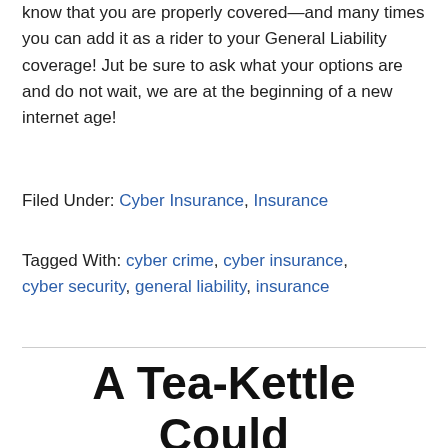know that you are properly covered—and many times you can add it as a rider to your General Liability coverage! Jut be sure to ask what your options are and do not wait, we are at the beginning of a new internet age!
Filed Under: Cyber Insurance, Insurance
Tagged With: cyber crime, cyber insurance, cyber security, general liability, insurance
A Tea-Kettle Could Take Down A Company... If It